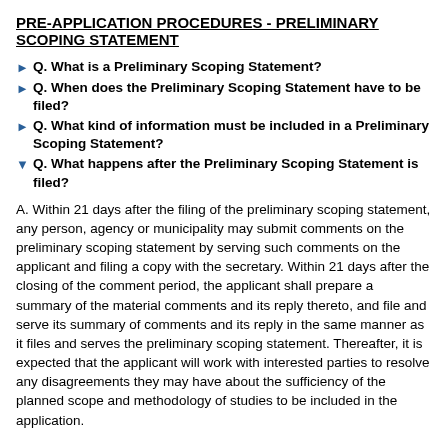PRE-APPLICATION PROCEDURES - PRELIMINARY SCOPING STATEMENT
Q. What is a Preliminary Scoping Statement?
Q. When does the Preliminary Scoping Statement have to be filed?
Q. What kind of information must be included in a Preliminary Scoping Statement?
Q. What happens after the Preliminary Scoping Statement is filed?
A. Within 21 days after the filing of the preliminary scoping statement, any person, agency or municipality may submit comments on the preliminary scoping statement by serving such comments on the applicant and filing a copy with the secretary. Within 21 days after the closing of the comment period, the applicant shall prepare a summary of the material comments and its reply thereto, and file and serve its summary of comments and its reply in the same manner as it files and serves the preliminary scoping statement. Thereafter, it is expected that the applicant will work with interested parties to resolve any disagreements they may have about the sufficiency of the planned scope and methodology of studies to be included in the application.